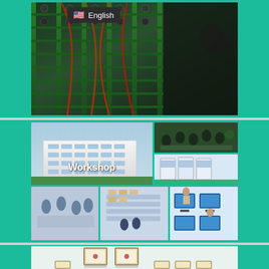[Figure (photo): Top section showing server racks or LED display components with green metal frames and cables, with a language selector badge showing English with US flag overlay]
[Figure (photo): Workshop collage showing: large factory/office building exterior, office meeting room with people, equipment/machinery room, factory floor workers in blue, warehouse/storage area, and computer lab. Text overlay says 'Workshop']
[Figure (photo): Bottom section showing a wall display of framed certificates and awards on a light background]